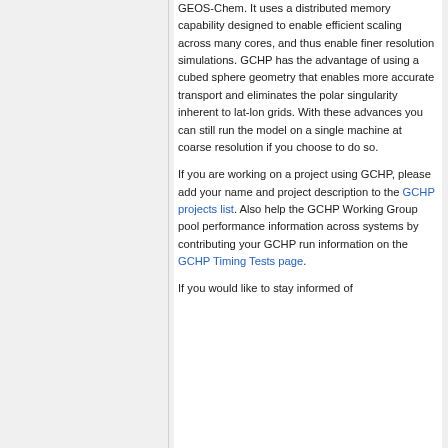GEOS-Chem. It uses a distributed memory capability designed to enable efficient scaling across many cores, and thus enable finer resolution simulations. GCHP has the advantage of using a cubed sphere geometry that enables more accurate transport and eliminates the polar singularity inherent to lat-lon grids. With these advances you can still run the model on a single machine at coarse resolution if you choose to do so.
If you are working on a project using GCHP, please add your name and project description to the GCHP projects list. Also help the GCHP Working Group pool performance information across systems by contributing your GCHP run information on the GCHP Timing Tests page.
If you would like to stay informed of